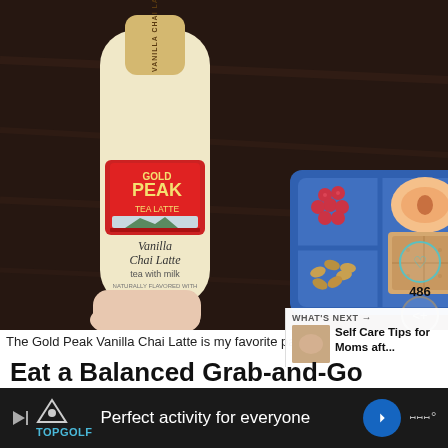[Figure (photo): A hand holding a Gold Peak Vanilla Chai Latte tea bottle next to a blue divided lunch container with raspberries, a peach slice, nuts, and graham crackers/toast, on a dark wooden surface. Social sharing icons (heart, share) and counts (486) visible on the right side.]
The Gold Peak Vanilla Chai Latte is my favorite part
[Figure (photo): Thumbnail image for 'What's Next' content recommendation showing a food/snack related image]
WHAT'S NEXT → Self Care Tips for Moms aft...
Eat a Balanced Grab-and-Go
Perfect activity for everyone
Topgolf